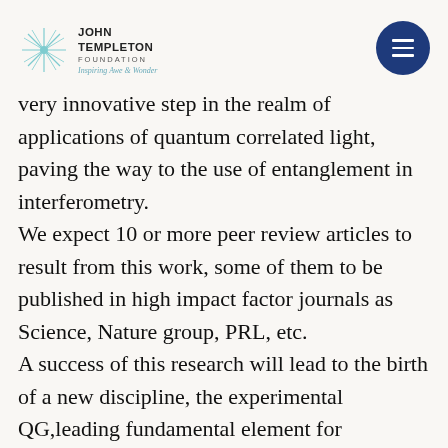John Templeton Foundation — Inspiring Awe & Wonder
very innovative step in the realm of applications of quantum correlated light, paving the way to the use of entanglement in interferometry. We expect 10 or more peer review articles to result from this work, some of them to be published in high impact factor journals as Science, Nature group, PRL, etc. A success of this research will lead to the birth of a new discipline, the experimental QG,leading fundamental element for elaborating a final theory of the whole.It is evident the impact of this result in our vision of the physical reality will be of the